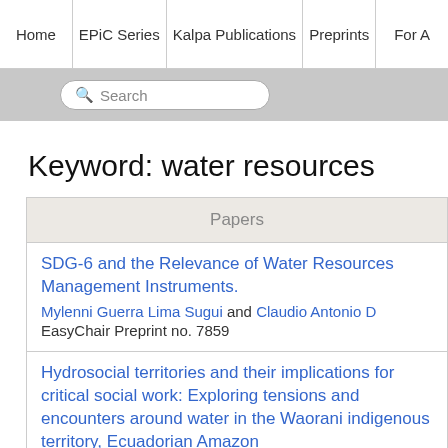Home | EPiC Series | Kalpa Publications | Preprints | For A
[Figure (screenshot): Search bar on gray background]
Keyword: water resources
Papers
SDG-6 and the Relevance of Water Resources Management Instruments.
Mylenni Guerra Lima Sugui and Claudio Antonio D
EasyChair Preprint no. 7859
Hydrosocial territories and their implications for critical social work: Exploring tensions and encounters around water in the Waorani indigenous territory, Ecuadorian Amazon